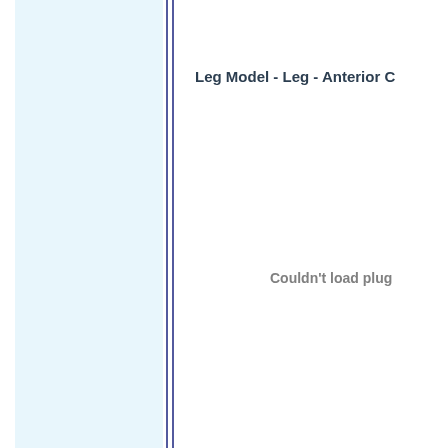[Figure (other): Light blue left sidebar panel]
Leg Model - Leg - Anterior C
Couldn't load plug